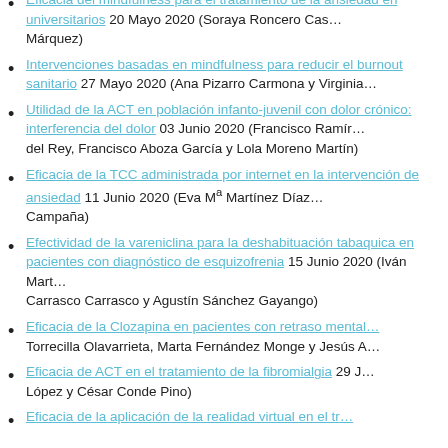Eficacia del mindfulness para el tratamiento de la ansiedad en universitarios 20 Mayo 2020 (Soraya Roncero Cas… Márquez)
Intervenciones basadas en mindfulness para reducir el burnout sanitario 27 Mayo 2020 (Ana Pizarro Carmona y Virginia…)
Utilidad de la ACT en población infanto-juvenil con dolor crónico: interferencia del dolor 03 Junio 2020 (Francisco Ramírez del Rey, Francisco Aboza García y Lola Moreno Martín)
Eficacia de la TCC administrada por internet en la intervención de ansiedad 11 Junio 2020 (Eva Mª Martínez Díaz… Campaña)
Efectividad de la vareniclina para la deshabituación tabáquica en pacientes con diagnóstico de esquizofrenia 15 Junio 2020 (Iván Mart… Carrasco Carrasco y Agustín Sánchez Gayango)
Eficacia de la Clozapina en pacientes con retraso mental… Torrecilla Olavarrieta, Marta Fernández Monge y Jesús A…
Eficacia de ACT en el tratamiento de la fibromialgia 29 J… López y César Conde Pino)
Eficacia de la aplicación de la realidad virtual en el tr…